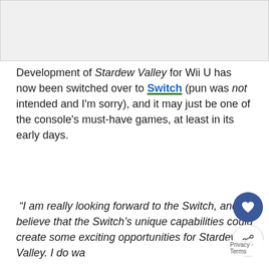[Figure (photo): Image placeholder at top of article page]
Development of Stardew Valley for Wii U has now been switched over to Switch (pun was not intended and I'm sorry), and it may just be one of the console's must-have games, at least in its early days.
“I am really looking forward to the Switch, and I believe that the Switch’s unique capabilities could create some exciting opportunities for Stardew Valley. I do wa... emphasize that I am absolutely committed to